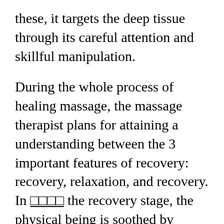these, it targets the deep tissue through its careful attention and skillful manipulation.
During the whole process of healing massage, the massage therapist plans for attaining a understanding between the 3 important features of recovery: recovery, relaxation, and recovery. In      the recovery stage, the physical being is soothed by means of massage therapy as well as also the feelings of fatigue and restlessness are all relieved. At this moment, the person experiences a renewed sense of energy and confidence, which gives their more energy to take care of stress and other